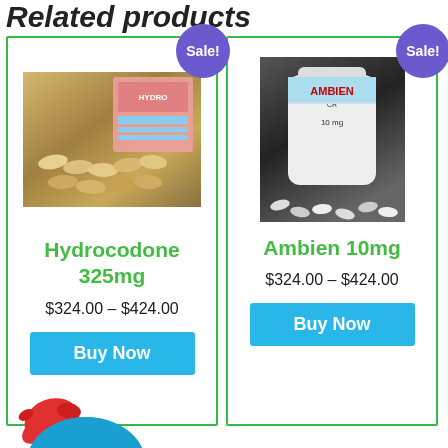Related products
[Figure (photo): Hydrocodone 325mg product — pills and packaging]
Hydrocodone 325mg
$324.00 – $424.00
Buy Now
[Figure (photo): Ambien 10mg white bottle of pills]
Ambien 10mg
$324.00 – $424.00
Buy Now
BACK TO TOP
[Figure (photo): Bottom left product partial view — Sale! badge]
[Figure (photo): Bottom right product partial view — Sale! badge]